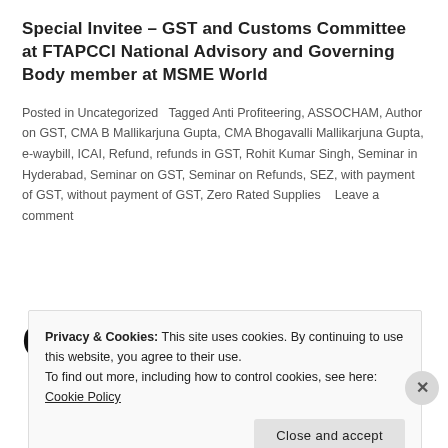Special Invitee – GST and Customs Committee at FTAPCCI National Advisory and Governing Body member at MSME World
Posted in Uncategorized   Tagged Anti Profiteering, ASSOCHAM, Author on GST, CMA B Mallikarjuna Gupta, CMA Bhogavalli Mallikarjuna Gupta, e-waybill, ICAI, Refund, refunds in GST, Rohit Kumar Singh, Seminar in Hyderabad, Seminar on GST, Seminar on Refunds, SEZ, with payment of GST, without payment of GST, Zero Rated Supplies   Leave a comment
GST Tip – 325
Privacy & Cookies: This site uses cookies. By continuing to use this website, you agree to their use. To find out more, including how to control cookies, see here: Cookie Policy